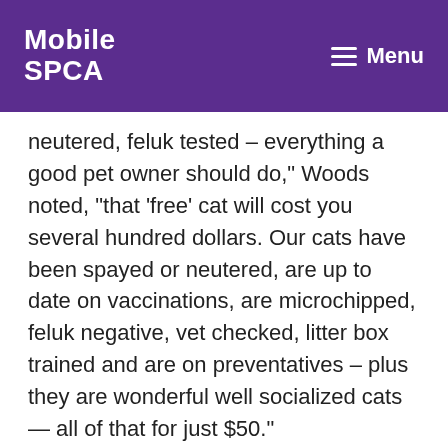Mobile SPCA  Menu
neutered, feluk tested – everything a good pet owner should do," Woods noted, "that 'free' cat will cost you several hundred dollars. Our cats have been spayed or neutered, are up to date on vaccinations, are microchipped, feluk negative, vet checked, litter box trained and are on preventatives – plus they are wonderful well socialized cats — all of that for just $50."
"By adopting a Mobile SPCA cat or